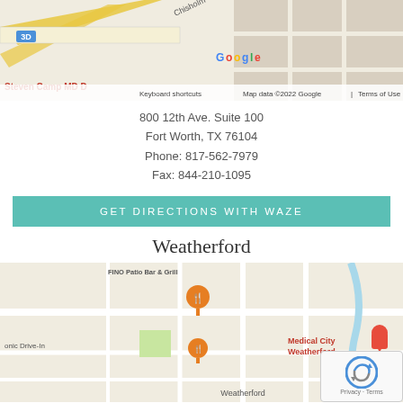[Figure (map): Google Maps screenshot showing Fort Worth area with Steven Camp MD label visible, Chisholm road, I-30/3D interchange, map data 2022 Google, keyboard shortcuts, Terms of Use]
800 12th Ave. Suite 100
Fort Worth, TX 76104
Phone: 817-562-7979
Fax: 844-210-1095
GET DIRECTIONS WITH WAZE
Weatherford
[Figure (map): Google Maps screenshot showing Weatherford area with Medical City Weatherford hospital, Sonic Drive-In, FINO Patio Bar & Grill, Weatherford Parker County Animal Shelter, United States Postal Service, reCAPTCHA overlay]
912 Foster Lane
Weatherford, TX 76086